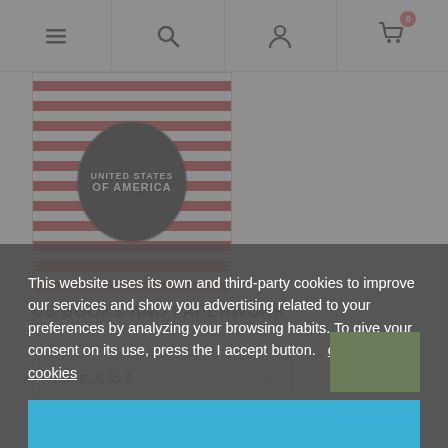Navigation bar with menu, search, account, and cart (0 items) icons
[Figure (photo): Circular badge-style logo with red and white stripes reading 'UNITED STATES OF AMERICA' on black background]
US BOOKS AND PAPERWORK
Name, A to Z (sort dropdown)
Showing 1–50 of 199 item(s)
This website uses its own and third-party cookies to improve our services and show you advertising related to your preferences by analyzing your browsing habits. To give your consent on its use, press the I accept button.   customize cookies